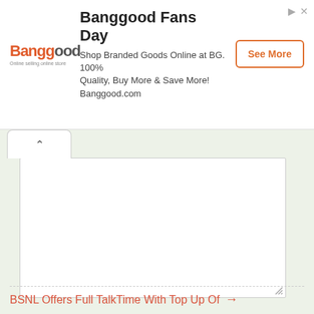[Figure (screenshot): Banggood advertisement banner with logo, text, and See More button]
[Figure (screenshot): Web form area with collapse tab, textarea, Submit button, and two email notification checkboxes on light green background]
Notify me of follow-up comments by email.
Notify me of new posts by email.
BSNL Offers Full TalkTime With Top Up Of →